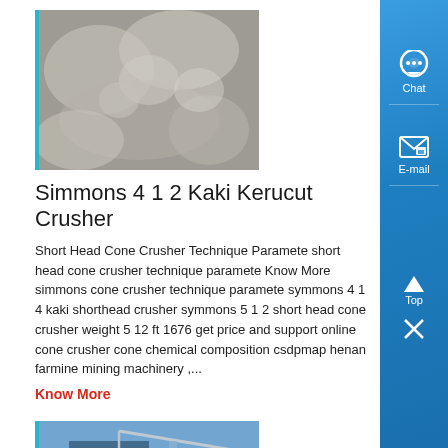[Figure (photo): Photo of crushed stone/rocky material in gray tones with teal left border]
Simmons 4 1 2 Kaki Kerucut Crusher
Short Head Cone Crusher Technique Paramete short head cone crusher technique paramete Know More simmons cone crusher technique paramete symmons 4 1 4 kaki shorthead crusher symmons 5 1 2 short head cone crusher weight 5 12 ft 1676 get price and support online cone crusher cone chemical composition csdpmap henan farmine mining machinery ,...
Know More
[Figure (photo): Photo of industrial machinery/building with crane structure, blue tones with teal left border]